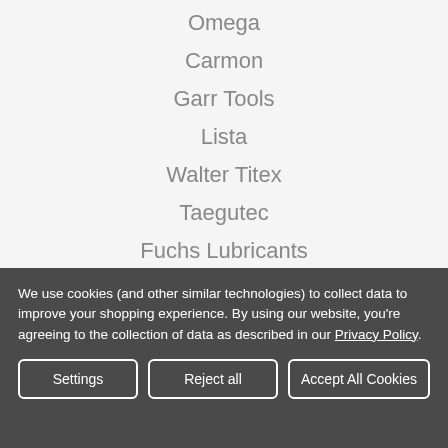Omega
Carmon
Garr Tools
Lista
Walter Titex
Taegutec
Fuchs Lubricants
Noma
Guhring
View All
We use cookies (and other similar technologies) to collect data to improve your shopping experience. By using our website, you're agreeing to the collection of data as described in our Privacy Policy.